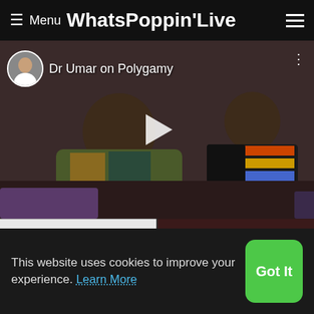Menu WhatsPoppin'Live
[Figure (screenshot): Video thumbnail showing two people seated, with a play button overlay and text 'Dr Umar on Polygamy' with a circular avatar at top left]
[Figure (screenshot): Video card thumbnail with dark overlay label: Not His After Almost a Yea]
[Figure (screenshot): Video card thumbnail with dark overlay label: Justina Valentine- Strawberry Soda (Official Video]
This website uses cookies to improve your experience. Learn More
Got It